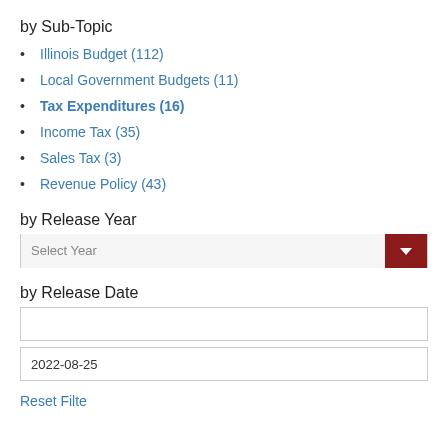by Sub-Topic
Illinois Budget (112)
Local Government Budgets (11)
Tax Expenditures (16)
Income Tax (35)
Sales Tax (3)
Revenue Policy (43)
by Release Year
Select Year
by Release Date
2022-08-25
Reset Filte